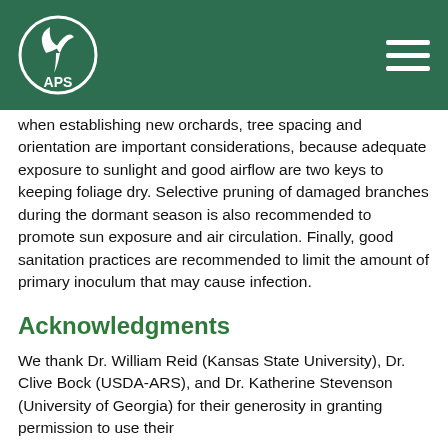APS
When establishing new orchards, tree spacing and orientation are important considerations, because adequate exposure to sunlight and good airflow are two keys to keeping foliage dry. Selective pruning of damaged branches during the dormant season is also recommended to promote sun exposure and air circulation. Finally, good sanitation practices are recommended to limit the amount of primary inoculum that may cause infection.
Acknowledgments
We thank Dr. William Reid (Kansas State University), Dr. Clive Bock (USDA-ARS), and Dr. Katherine Stevenson (University of Georgia) for their generosity in granting permission to use their